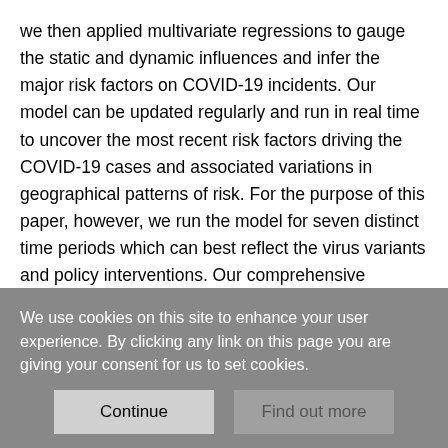we then applied multivariate regressions to gauge the static and dynamic influences and infer the major risk factors on COVID-19 incidents. Our model can be updated regularly and run in real time to uncover the most recent risk factors driving the COVID-19 cases and associated variations in geographical patterns of risk. For the purpose of this paper, however, we run the model for seven distinct time periods which can best reflect the virus variants and policy interventions. Our comprehensive identification of the risk factors affecting COVID-19 transmission may be useful to policymakers to aid them devise effective strategies for population groups most at risk and observe in real time the impact of global and federated policy interventions in
We use cookies on this site to enhance your user experience. By clicking any link on this page you are giving your consent for us to set cookies.